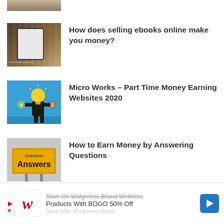[Figure (photo): Cropped bottom portion of a photo showing hands, partially visible at top of page]
[Figure (photo): Photo related to selling ebooks online - shelves with books and a tablet device]
How does selling ebooks online make you money?
[Figure (illustration): Illustration on blue background showing a person with lightbulb head holding a book, with a hand offering money]
Micro Works – Part Time Money Earning Websites 2020
[Figure (photo): Photo of a yellow road sign reading 'Questions Answers']
How to Earn Money by Answering Questions
About the Author: admin
[Figure (other): Advertisement banner for Walgreens Brand Wellness Products with BOGO 50% Off]